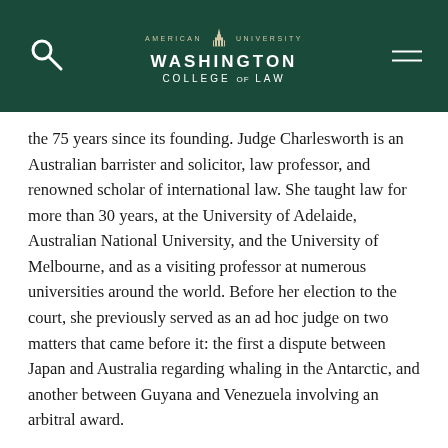American University Washington College of Law
the 75 years since its founding. Judge Charlesworth is an Australian barrister and solicitor, law professor, and renowned scholar of international law. She taught law for more than 30 years, at the University of Adelaide, Australian National University, and the University of Melbourne, and as a visiting professor at numerous universities around the world. Before her election to the court, she previously served as an ad hoc judge on two matters that came before it: the first a dispute between Japan and Australia regarding whaling in the Antarctic, and another between Guyana and Venezuela involving an arbitral award.
Professor Karima Bennoune currently is a Visiting Professor at the University of Michigan Law School. She holds the Homer G. Angelo and Ann Berryhill Endowed